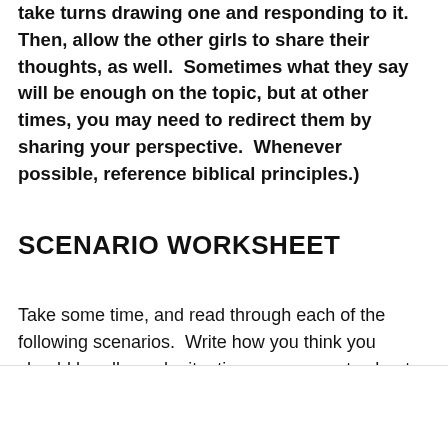take turns drawing one and responding to it.  Then, allow the other girls to share their thoughts, as well.  Sometimes what they say will be enough on the topic, but at other times, you may need to redirect them by sharing your perspective.  Whenever possible, reference biblical principles.)
SCENARIO WORKSHEET
Take some time, and read through each of the following scenarios.  Write how you think you should handle each situation on a separate sheet of paper.  Be sure to numbe
Advertisements
[Figure (other): Seamless food delivery advertisement banner showing pizza image, Seamless logo in red, and ORDER NOW button]